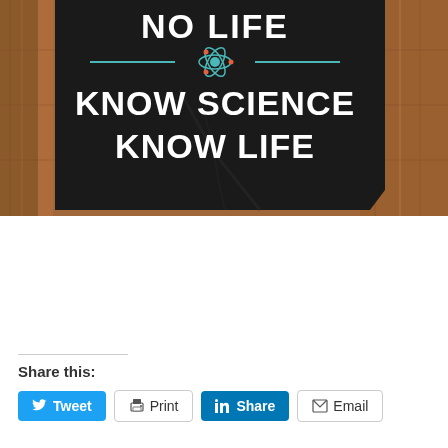[Figure (photo): A black t-shirt or fabric item displayed flat against a wood-plank background. The fabric shows text in white bold letters: 'NO LIFE' at the top, then a teal/cyan horizontal line with an atom/science icon in the center, then 'KNOW SCIENCE KNOW LIFE' in large white bold text below.]
Share this:
Tweet   Print   Share   Email